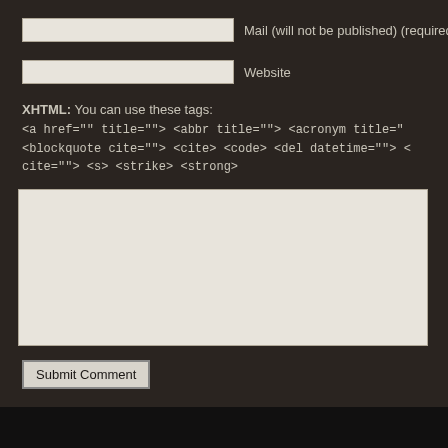Mail (will not be published) (required)
Website
XHTML: You can use these tags: <a href="" title=""> <abbr title=""> <acronym title=""> <blockquote cite=""> <cite> <code> <del datetime=""> <q cite=""> <s> <strike> <strong>
Submit Comment
Site Contents: ©2015 May Contain Spoilers